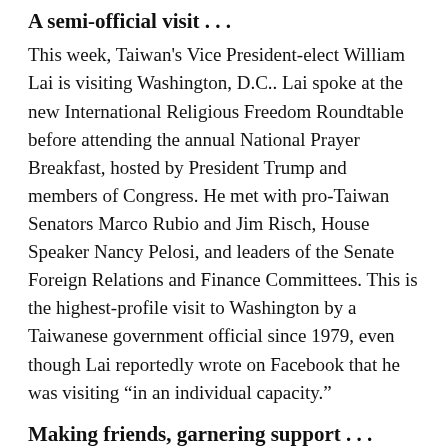A semi-official visit . . .
This week, Taiwan's Vice President-elect William Lai is visiting Washington, D.C.. Lai spoke at the new International Religious Freedom Roundtable before attending the annual National Prayer Breakfast, hosted by President Trump and members of Congress. He met with pro-Taiwan Senators Marco Rubio and Jim Risch, House Speaker Nancy Pelosi, and leaders of the Senate Foreign Relations and Finance Committees. This is the highest-profile visit to Washington by a Taiwanese government official since 1979, even though Lai reportedly wrote on Facebook that he was visiting “in an individual capacity.”
Making friends, garnering support . . .
U.S.-Taiwan relations have warmed since the phone call between President Trump and President Tsai Ing-wen shortly after the former’s election victory in late 2016. I